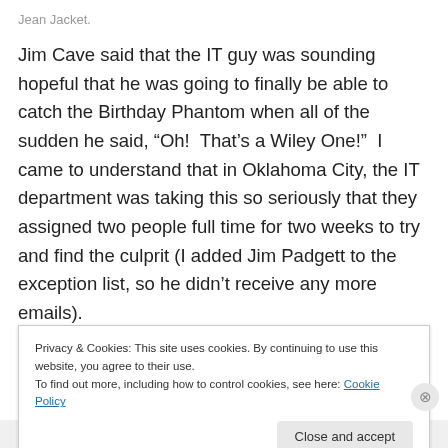Jean Jacket.
Jim Cave said that the IT guy was sounding hopeful that he was going to finally be able to catch the Birthday Phantom when all of the sudden he said, “Oh!  That’s a Wiley One!”  I came to understand that in Oklahoma City, the IT department was taking this so seriously that they assigned two people full time for two weeks to try and find the culprit (I added Jim Padgett to the exception list, so he didn’t receive any more emails).
Privacy & Cookies: This site uses cookies. By continuing to use this website, you agree to their use.
To find out more, including how to control cookies, see here: Cookie Policy
Close and accept